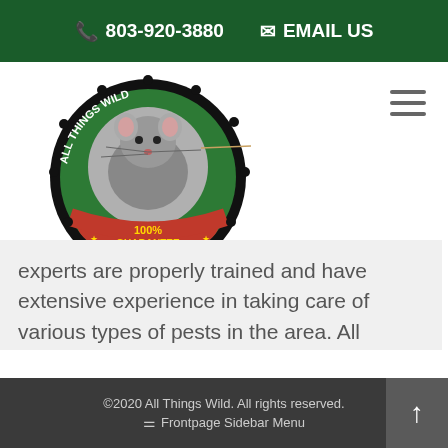📞 803-920-3880  ✉ EMAIL US
[Figure (logo): All Things Wild pest control company logo — circular badge with a rat image in the center, green background, black gear-like border with text 'ALL THINGS WILD' around the top, and a red banner at the bottom reading '100% GUARANTEE' with stars.]
experts are properly trained and have extensive experience in taking care of various types of pests in the area. All Things Wild, a Columbia,...
©2020 All Things Wild. All rights reserved. | Frontpage Sidebar Menu